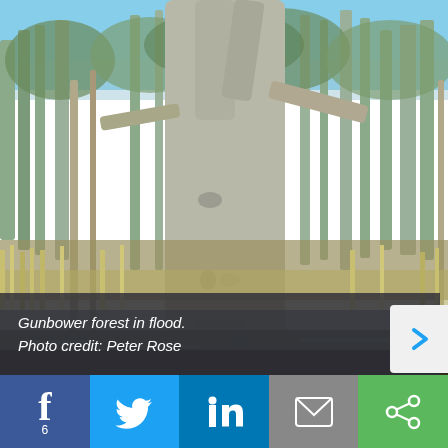[Figure (photo): Photograph of large eucalyptus/gum trees in Gunbower forest during flood conditions. A massive grey-barked tree trunk dominates the center foreground, with multiple branching. Background shows many more trees with dry grasses and flooded ground visible at the base.]
Gunbower forest in flood.
Photo credit: Peter Rose